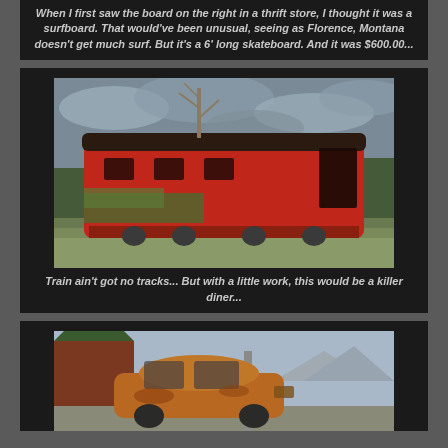When I first saw the board on the right in a thrift store, I thought it was a surfboard. That would've been unusual, seeing as Florence, Montana doesn't get much surf. But it's a 6' long skateboard. And it was $600.00...
[Figure (photo): Photograph of an abandoned red vintage train car sitting in a field with grass and weeds growing around it, with bare trees and a cloudy sky in background]
Train ain't got no tracks... But with a little work, this would be a killer diner...
[Figure (photo): Photograph of an old rusty abandoned car shell parked near a building, with mountains visible in background]